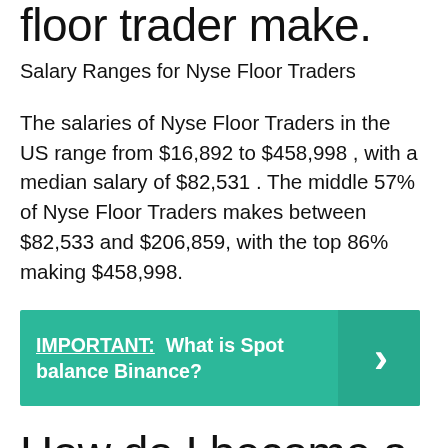floor trader make.
Salary Ranges for Nyse Floor Traders
The salaries of Nyse Floor Traders in the US range from $16,892 to $458,998 , with a median salary of $82,531 . The middle 57% of Nyse Floor Traders makes between $82,533 and $206,859, with the top 86% making $458,998.
IMPORTANT:  What is Spot balance Binance?
How do I become a floor trader?